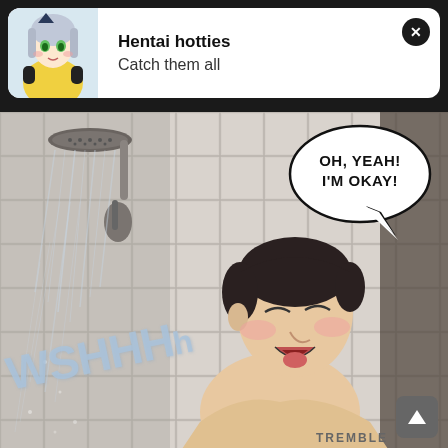[Figure (illustration): Ad banner with anime girl character, bold text 'Hentai hotties' and subtitle 'Catch them all', with close button X]
[Figure (illustration): Webtoon/manhwa comic panel showing a man in a shower scene with speech bubble saying 'OH, YEAH! I'M OKAY!' and sound effect text 'WSHHH' and 'TREMBLE']